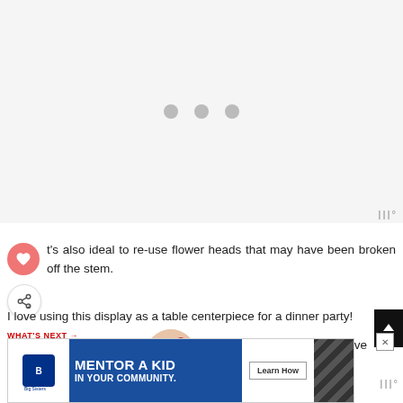[Figure (other): Gray loading placeholder area with three gray dots in the center]
t's also ideal to re-use flower heads that may have been broken off the stem.
I love using this display as a table centerpiece for a dinner party!
so pretty? And when you have flickering candles around it's mega romantic ;)
[Figure (other): WHAT'S NEXT → / Last Minute Valentine's... promotional banner with circular thumbnail image]
[Figure (other): Bottom advertisement banner: Big Brothers Big Sisters - MENTOR A KID IN YOUR COMMUNITY. Learn How]